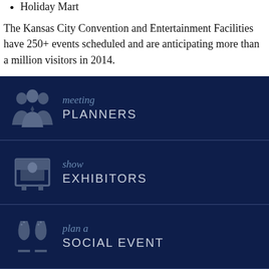Holiday Mart
The Kansas City Convention and Entertainment Facilities have 250+ events scheduled and are anticipating more than a million visitors in 2014.
[Figure (infographic): Dark navy blue navigation banner: icon of three people (meeting planners), with script text 'meeting' and uppercase 'PLANNERS']
[Figure (infographic): Dark navy blue navigation banner: icon of person at booth/kiosk (show exhibitors), with script text 'show' and uppercase 'EXHIBITORS']
[Figure (infographic): Dark navy blue navigation banner: icon of two wine glasses (plan a social event), with script text 'plan a' and uppercase 'SOCIAL EVENT']
[Figure (infographic): Dark navy blue navigation banner: icon of wedding rings with diamond (weddings & receptions), with script text 'weddings &' and uppercase 'RECEPTIONS']